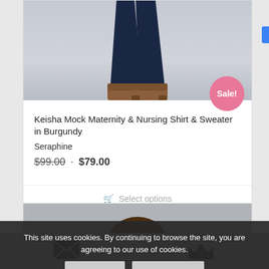[Figure (photo): Bottom half of a model wearing dark navy jeans and brown ankle boots against a light background, shown from knees down]
Keisha Mock Maternity & Nursing Shirt & Sweater in Burgundy
Seraphine
$99.00 · $79.00
Select options
[Figure (photo): Partial view of a second product model, head/hair visible at bottom of page]
This site uses cookies. By continuing to browse the site, you are agreeing to our use of cookies.